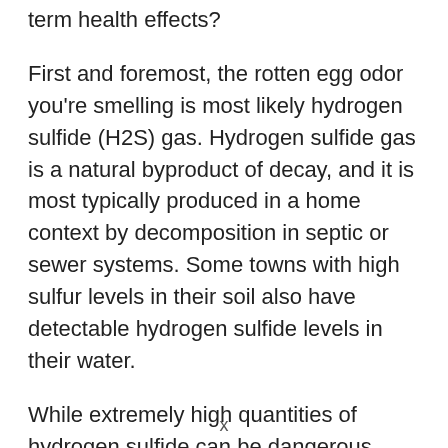term health effects?
First and foremost, the rotten egg odor you're smelling is most likely hydrogen sulfide (H2S) gas. Hydrogen sulfide gas is a natural byproduct of decay, and it is most typically produced in a home context by decomposition in septic or sewer systems. Some towns with high sulfur levels in their soil also have detectable hydrogen sulfide levels in their water.
While extremely high quantities of hydrogen sulfide can be dangerous, even fatal, H2S is one of few compounds that can be recognized by the nose at
x